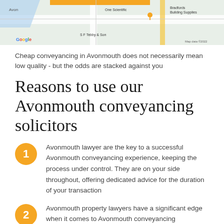[Figure (map): Google Maps screenshot showing Avonmouth area with street map, including locations like One Scientific, Bradfords Building Supplies, S F Tebby & Son, with an orange bar highlight at top]
Cheap conveyancing in Avonmouth does not necessarily mean low quality - but the odds are stacked against you
Reasons to use our Avonmouth conveyancing solicitors
Avonmouth lawyer are the key to a successful Avonmouth conveyancing experience, keeping the process under control. They are on your side throughout, offering dedicated advice for the duration of your transaction
Avonmouth property lawyers have a significant edge when it comes to Avonmouth conveyancing